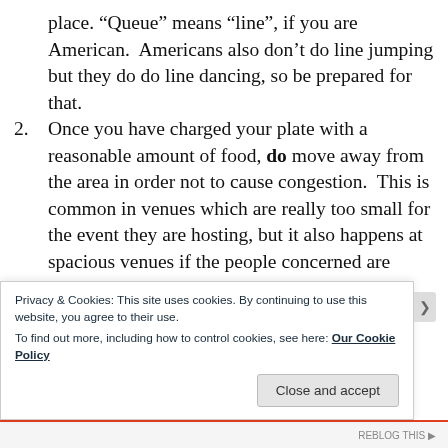place. “Queue” means “line”, if you are American.  Americans also don’t do line jumping but they do do line dancing, so be prepared for that.
Once you have charged your plate with a reasonable amount of food, do move away from the area in order not to cause congestion.  This is common in venues which are really too small for the event they are hosting, but it also happens at spacious venues if the people concerned are unawared that they are supposed to be sharing planet Earth with their peers.  Some people’s mothers did
Privacy & Cookies: This site uses cookies. By continuing to use this website, you agree to their use.
To find out more, including how to control cookies, see here: Our Cookie Policy